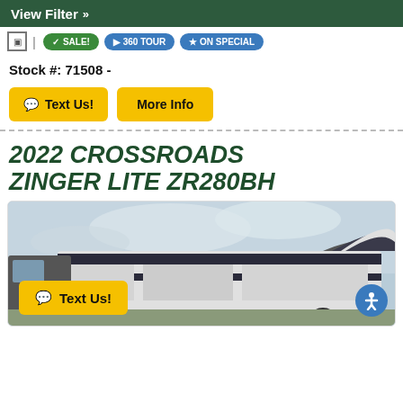View Filter »
SALE! | 360 TOUR | ON SPECIAL
Stock #: 71508 -
Text Us! | More Info
2022 CROSSROADS ZINGER LITE ZR280BH
[Figure (photo): Exterior photo of a 2022 Crossroads Zinger Lite ZR280BH RV/travel trailer against a cloudy sky. A yellow 'Text Us!' button overlay appears on the bottom left of the image, and a blue accessibility icon appears on the bottom right.]